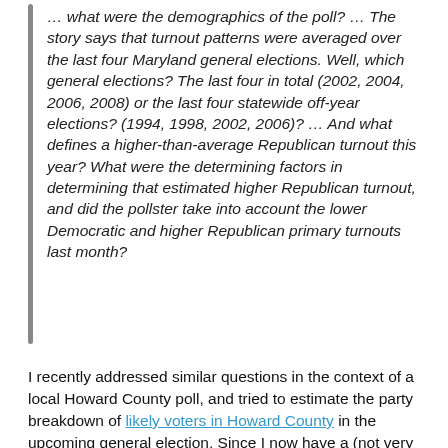… what were the demographics of the poll? … The story says that turnout patterns were averaged over the last four Maryland general elections. Well, which general elections? The last four in total (2002, 2004, 2006, 2008) or the last four statewide off-year elections? (1994, 1998, 2002, 2006)? … And what defines a higher-than-average Republican turnout this year? What were the determining factors in determining that estimated higher Republican turnout, and did the pollster take into account the lower Democratic and higher Republican primary turnouts last month?
I recently addressed similar questions in the context of a local Howard County poll, and tried to estimate the party breakdown of likely voters in Howard County in the upcoming general election. Since I now have a (not very sophisticated) methodology to estimate the likely share of turnout from Democrats, Republicans, and others, I